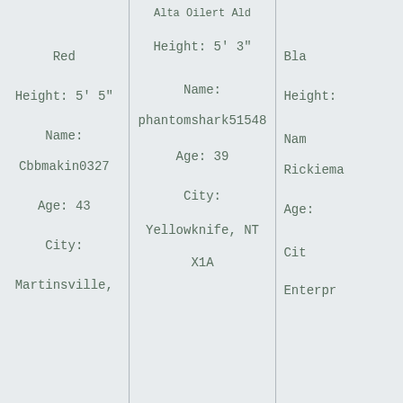Red
Height: 5' 5"
Name:
Cbbmakin0327
Age: 43
City:
Martinsville,
Height: 5' 3"
Name:
phantomshark51548
Age: 39
City:
Yellowknife, NT
X1A
Bla
Height:
Nam
Rickiema
Age:
Cit
Enterpr